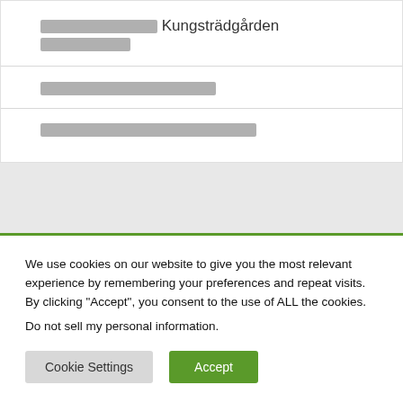☐☐☐☐☐☐☐☐☐☐ Kungsträdgården ☐☐☐☐☐☐☐☐☐
☐☐☐☐☐☐☐☐☐☐☐☐☐☐☐☐☐☐
☐☐☐☐☐☐☐☐☐☐☐☐☐☐☐☐☐☐☐☐☐
We use cookies on our website to give you the most relevant experience by remembering your preferences and repeat visits. By clicking "Accept", you consent to the use of ALL the cookies.
Do not sell my personal information.
Cookie Settings
Accept